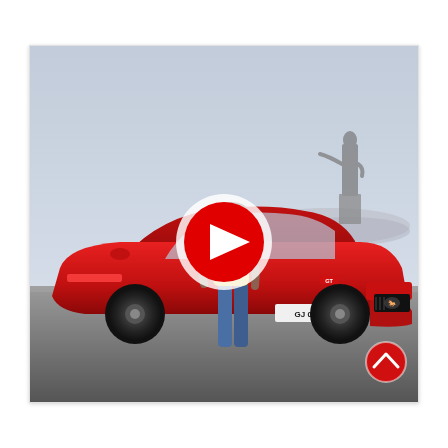[Figure (photo): A man in jeans and casual top leans against a red Ford Mustang GT sports car with license plate GJ 01 T, parked outdoors. In the background is a large statue (Statue of Unity) on a misty day. A YouTube-style play button overlay is centered on the image, and a red scroll-up button is in the bottom right corner.]